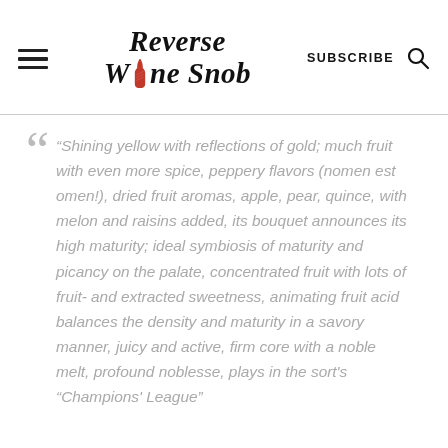Reverse Wine Snob — SUBSCRIBE [search icon]
"Shining yellow with reflections of gold; much fruit with even more spice, peppery flavors (nomen est omen!), dried fruit aromas, apple, pear, quince, with melon and raisins added, its bouquet announces its high maturity; ideal symbiosis of maturity and picancy on the palate, concentrated fruit with lots of fruit- and extracted sweetness, animating fruit acid balances the density and maturity in a savory manner, juicy and active, firm core with a noble melt, profound noblesse, plays in the sort's "Champions' League"